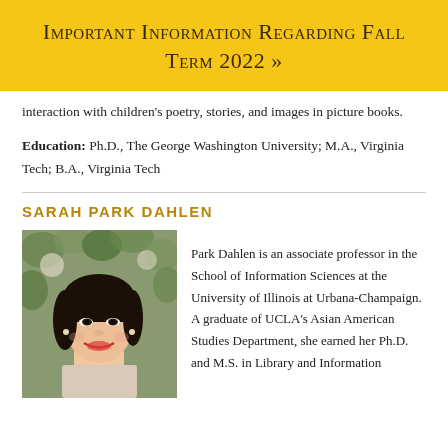Important Information Regarding Fall Term 2022 »
interaction with children's poetry, stories, and images in picture books.
Education: Ph.D., The George Washington University; M.A., Virginia Tech; B.A., Virginia Tech
SARAH PARK DAHLEN
[Figure (photo): Portrait photo of Sarah Park Dahlen, a woman with dark hair, smiling, with foliage in the background.]
Park Dahlen is an associate professor in the School of Information Sciences at the University of Illinois at Urbana-Champaign. A graduate of UCLA's Asian American Studies Department, she earned her Ph.D. and M.S. in Library and Information